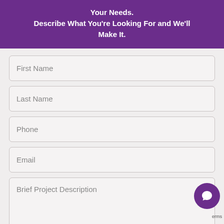Your Needs. Describe What You're Looking For and We'll Make It.
First Name
Last Name
Phone
Email
Brief Project Description